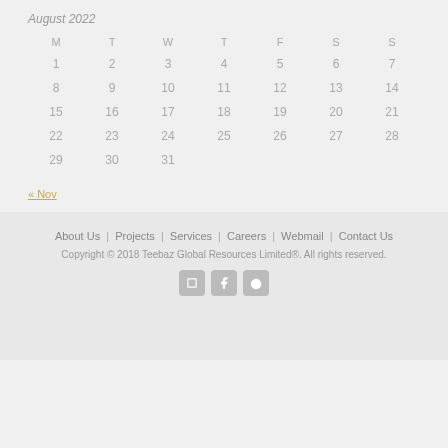August 2022
| M | T | W | T | F | S | S |
| --- | --- | --- | --- | --- | --- | --- |
| 1 | 2 | 3 | 4 | 5 | 6 | 7 |
| 8 | 9 | 10 | 11 | 12 | 13 | 14 |
| 15 | 16 | 17 | 18 | 19 | 20 | 21 |
| 22 | 23 | 24 | 25 | 26 | 27 | 28 |
| 29 | 30 | 31 |  |  |  |  |
« Nov
About Us | Projects | Services | Careers | Webmail | Contact Us
Copyright © 2018 Teebaz Global Resources Limited®. All rights reserved.